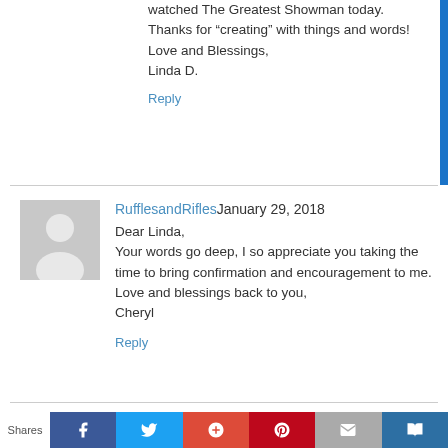watched The Greatest Showman today. Thanks for “creating” with things and words!
Love and Blessings,
Linda D.
Reply
RufflesandRifles January 29, 2018
Dear Linda,
Your words go deep, I so appreciate you taking the time to bring confirmation and encouragement to me.
Love and blessings back to you,
Cheryl
Reply
Shares